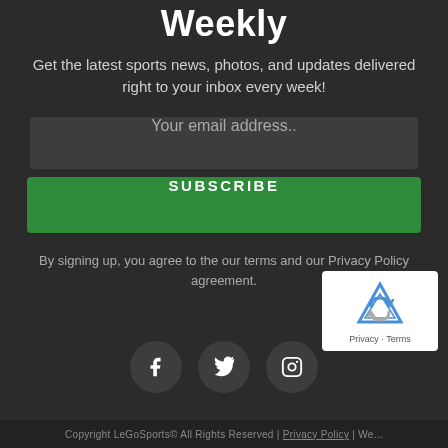Weekly
Get the latest sports news, photos, and updates delivered right to your inbox every week!
Your email address..
SUBSCRIBE
By signing up, you agree to the our terms and our Privacy Policy agreement.
[Figure (other): Social media icons for Facebook, Twitter, and Instagram in dark circular buttons, plus reCAPTCHA badge]
Copyright LeGoSports© All Rights Reserved | Privacy Policy | We...